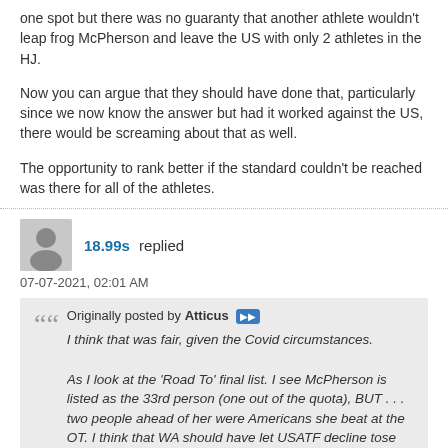one spot but there was no guaranty that another athlete wouldn't leap frog McPherson and leave the US with only 2 athletes in the HJ.
Now you can argue that they should have done that, particularly since we now know the answer but had it worked against the US, there would be screaming about that as well.
The opportunity to rank better if the standard couldn't be reached was there for all of the athletes.
18.99s replied
07-07-2021, 02:01 AM
Originally posted by Atticus
I think that was fair, given the Covid circumstances.

As I look at the 'Road To' final list. I see McPherson is listed as the 33rd person (one out of the quota), BUT . . . two people ahead of her were Americans she beat at the OT. I think that WA should have let USATF decline tose two spots, raising her to 31st, inside the quota. Simple as that.
WA let USATF decline those spots ... sort of. The deadline for countries to decline spots was June 29, but the final ranking list was published July 1. So USATF would have had to decline a spot based on expectations of how the rankings would shake out 2 days later, not